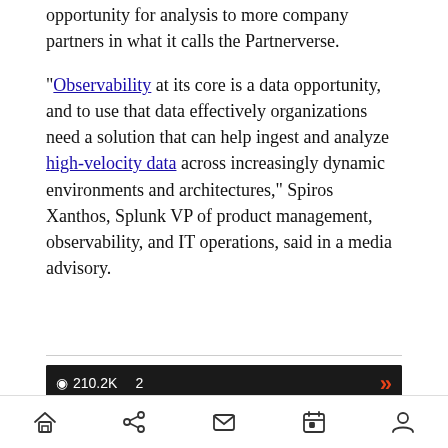opportunity for analysis to more company partners in what it calls the Partnerverse.
"Observability at its core is a data opportunity, and to use that data effectively organizations need a solution that can help ingest and analyze high-velocity data across increasingly dynamic environments and architectures," Spiros Xanthos, Splunk VP of product management, observability, and IT operations, said in a media advisory.
[Figure (screenshot): Video thumbnail showing '210.2K views, 2 comments' with a person on screen. Title reads 'The evolution of Web Apps' with subtitles 'Web 1.0', 'Web 2.0', 'Web 3.0']
Navigation bar with home, share, mail, calendar, and profile icons